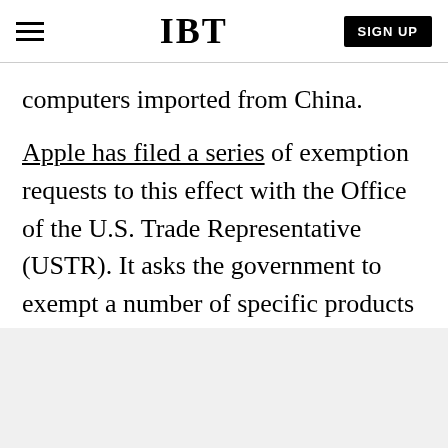IBT | SIGN UP
computers imported from China.
Apple has filed a series of exemption requests to this effect with the Office of the U.S. Trade Representative (USTR). It asks the government to exempt a number of specific products from the proposed 25 percent tariff on goods imported from China.